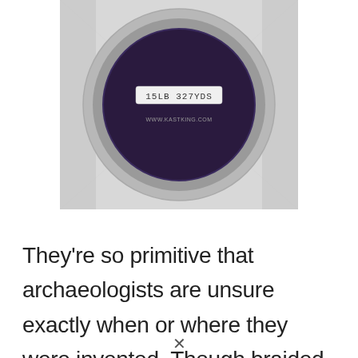[Figure (photo): Close-up photo of a fishing line spool/reel labeled '15LB 327YDS' and 'WWW.KASTKING.COM'. The spool has a dark purple center with a grey/silver rim, photographed against a light grey textile background.]
They're so primitive that archaeologists are unsure exactly when or where they were invented. Though braided fishing lines became prevalent in Europe in the early 1000s, they probably date back even